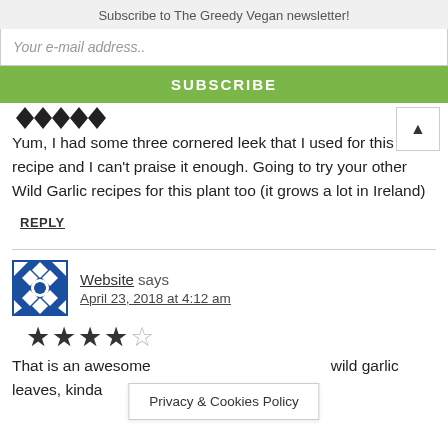Subscribe to The Greedy Vegan newsletter!
Your e-mail address..
SUBSCRIBE
Yum, I had some three cornered leek that I used for this recipe and I can't praise it enough. Going to try your other Wild Garlic recipes for this plant too (it grows a lot in Ireland)
REPLY
Website says
April 23, 2018 at 4:12 am
That is an awesome ... wild garlic leaves, kinda ... en
Privacy & Cookies Policy